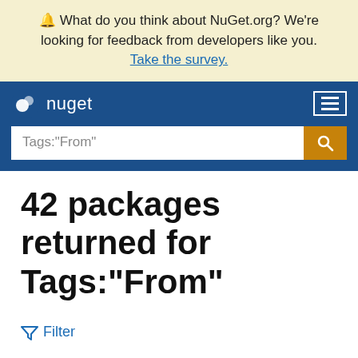🔔 What do you think about NuGet.org? We're looking for feedback from developers like you. Take the survey.
nuget — navigation bar with search: Tags:"From"
42 packages returned for Tags:"From"
Filter